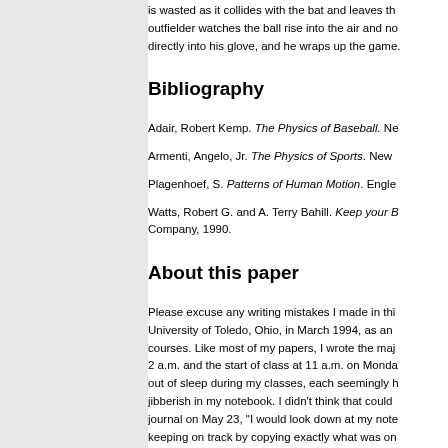is wasted as it collides with the bat and leaves th... outfielder watches the ball rise into the air and no... directly into his glove, and he wraps up the game.
Bibliography
Adair, Robert Kemp. The Physics of Baseball. Ne...
Armenti, Angelo, Jr. The Physics of Sports. New ...
Plagenhoef, S. Patterns of Human Motion. Engle...
Watts, Robert G. and A. Terry Bahill. Keep your B... Company, 1990.
About this paper
Please excuse any writing mistakes I made in thi... University of Toledo, Ohio, in March 1994, as an... courses. Like most of my papers, I wrote the maj... 2 a.m. and the start of class at 11 a.m. on Monda... out of sleep during my classes, each seemingly h... jibberish in my notebook. I didn't think that could... journal on May 23, "I would look down at my note... keeping on track by copying exactly what was on... going on..." So, like I said, it was a long time ago... for my awkward writing style!
This paper is available on my web site, located...